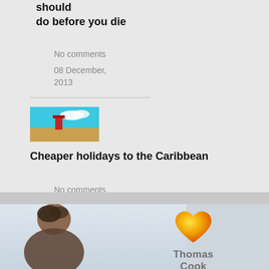should do before you die
No comments
08 December, 2013
[Figure (photo): Beach scene thumbnail with turquoise water and a red beach hut on sand]
Cheaper holidays to the Caribbean
No comments
27 December, 2013
[Figure (photo): Thomas Cook advertisement banner showing a person outdoors with the Thomas Cook heart logo and brand name]